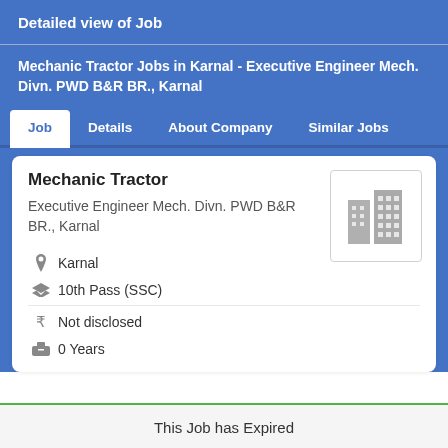Detailed view of Job
Mechanic Tractor Jobs in Karnal - Executive Engineer Mech. Divn. PWD B&R BR., Karnal
Job   Details   About Company   Similar Jobs
Mechanic Tractor
Executive Engineer Mech. Divn. PWD B&R BR., Karnal
Karnal
10th Pass (SSC)
Not disclosed
0 Years
This Job has Expired